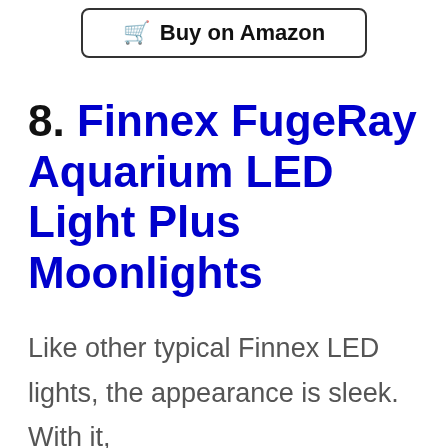[Figure (other): Buy on Amazon button with shopping cart icon]
8. Finnex FugeRay Aquarium LED Light Plus Moonlights
Like other typical Finnex LED lights, the appearance is sleek. With it,